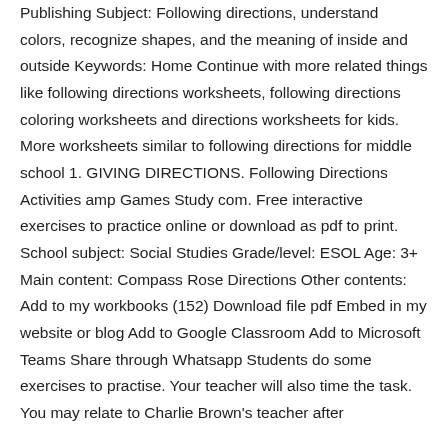Publishing Subject: Following directions, understand colors, recognize shapes, and the meaning of inside and outside Keywords: Home Continue with more related things like following directions worksheets, following directions coloring worksheets and directions worksheets for kids. More worksheets similar to following directions for middle school 1. GIVING DIRECTIONS. Following Directions Activities amp Games Study com. Free interactive exercises to practice online or download as pdf to print. School subject: Social Studies Grade/level: ESOL Age: 3+ Main content: Compass Rose Directions Other contents: Add to my workbooks (152) Download file pdf Embed in my website or blog Add to Google Classroom Add to Microsoft Teams Share through Whatsapp Students do some exercises to practise. Your teacher will also time the task. You may relate to Charlie Brown's teacher after